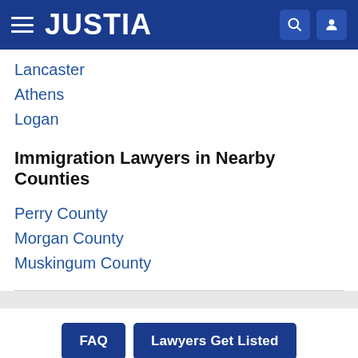JUSTIA
Lancaster
Athens
Logan
Immigration Lawyers in Nearby Counties
Perry County
Morgan County
Muskingum County
FAQ | Lawyers Get Listed
Recent (0) | Saved (0) | Compare (0/3)